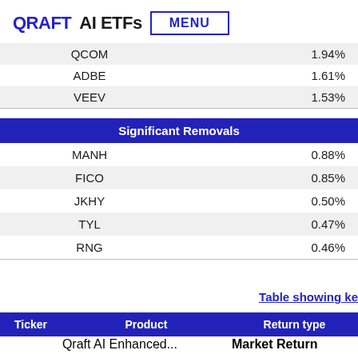QRAFT AI ETFs  MENU
|  |  |
| --- | --- |
| QCOM | 1.94% |
| ADBE | 1.61% |
| VEEV | 1.53% |
| Significant Removals |  |
| --- | --- |
| MANH | 0.88% |
| FICO | 0.85% |
| JKHY | 0.50% |
| TYL | 0.47% |
| RNG | 0.46% |
Table showing ke
| Ticker | Product | Return type |
| --- | --- | --- |
|  | Qraft AI Enhanced... | Market Return |